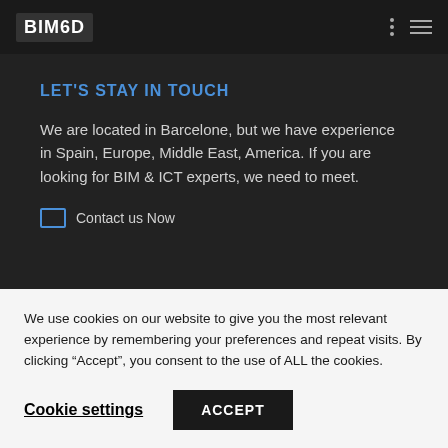TELEFONICA SMARTBUILDING PROPOSAL FOR #MWC22 WITH BIM6D AND POWERBIM
[Figure (logo): BIM6D logo — white bold text on dark background]
LET'S STAY IN TOUCH
We are located in Barcelone, but we have experience in Spain, Europe, Middle East, America. If you are looking for BIM & ICT experts, we need to meet.
Contact us Now
We use cookies on our website to give you the most relevant experience by remembering your preferences and repeat visits. By clicking “Accept”, you consent to the use of ALL the cookies.
Cookie settings
ACCEPT